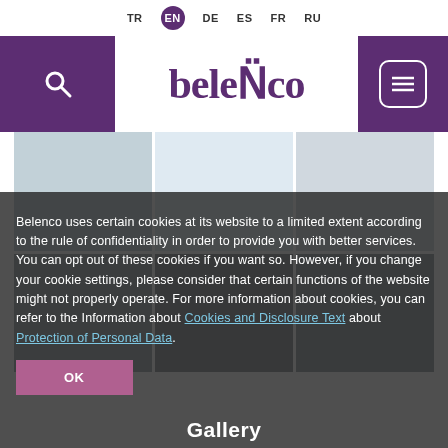TR EN DE ES FR RU
[Figure (logo): Belenco brand logo with search icon on left purple bar and hamburger menu on right purple bar]
[Figure (photo): Background interior/gallery photo strip with dark overlay]
Belenco uses certain cookies at its website to a limited extent according to the rule of confidentiality in order to provide you with better services. You can opt out of these cookies if you want so. However, if you change your cookie settings, please consider that certain functions of the website might not properly operate. For more information about cookies, you can refer to the Information about Cookies and Disclosure Text about Protection of Personal Data.
OK
Gallery